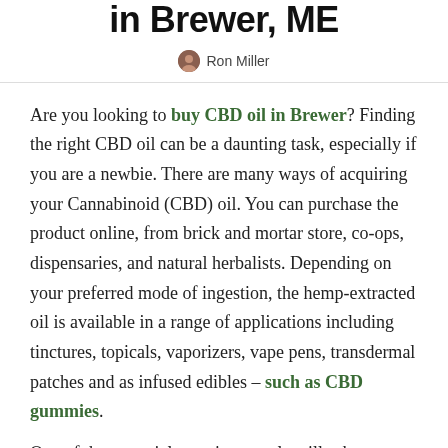in Brewer, ME
Ron Miller
Are you looking to buy CBD oil in Brewer? Finding the right CBD oil can be a daunting task, especially if you are a newbie. There are many ways of acquiring your Cannabinoid (CBD) oil. You can purchase the product online, from brick and mortar store, co-ops, dispensaries, and natural herbalists. Depending on your preferred mode of ingestion, the hemp-extracted oil is available in a range of applications including tinctures, topicals, vaporizers, vape pens, transdermal patches and as infused edibles – such as CBD gummies.
One of the essential question people will ask regarding